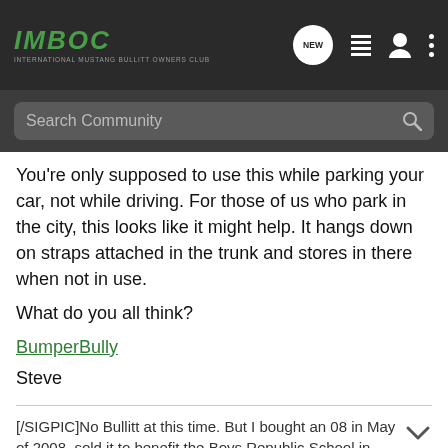IMBOC - International Mustang Bullitt Owners Club
You're only supposed to use this while parking your car, not while driving. For those of us who park in the city, this looks like it might help. It hangs down on straps attached in the trunk and stores in there when not in use.
What do you all think?
BumperBully
Steve
[/SIGPIC]No Bullitt at this time. But I bought an 08 in May of 2008, sold it to benefit the Boys Republic School in 2012, bought another